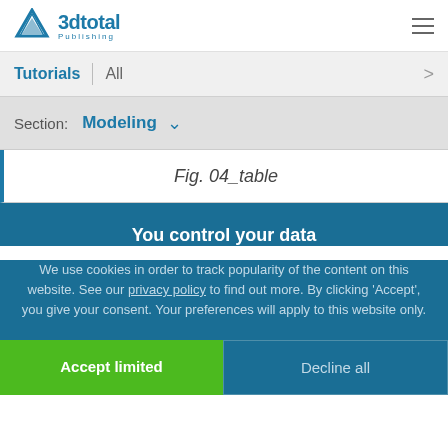3dtotal Publishing
Tutorials | All
Section: Modeling
Fig. 04_table
You control your data
We use cookies in order to track popularity of the content on this website. See our privacy policy to find out more. By clicking 'Accept', you give your consent. Your preferences will apply to this website only.
Accept limited
Decline all